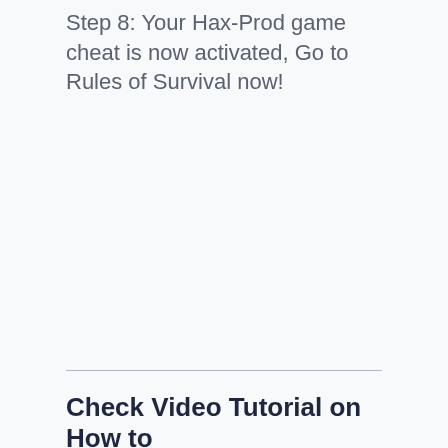Step 8: Your Hax-Prod game cheat is now activated, Go to Rules of Survival now!
Check Video Tutorial on How to